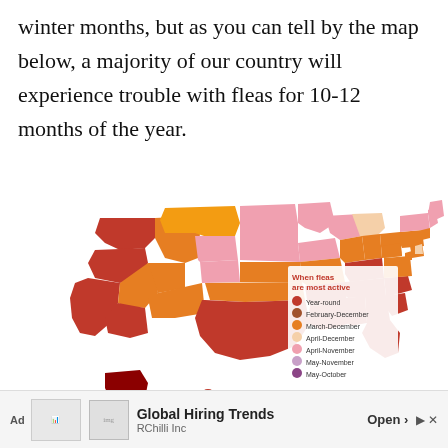winter months, but as you can tell by the map below, a majority of our country will experience trouble with fleas for 10-12 months of the year.
[Figure (map): US map showing when fleas are most active by state, color-coded: Year-round (red), February-December (brown-orange), March-December (orange), April-December (yellow), April-November (pink), May-November (mauve), May-October (purple). Legend on right side.]
Source
Ad | Global Hiring Trends — RChilli Inc | Open >